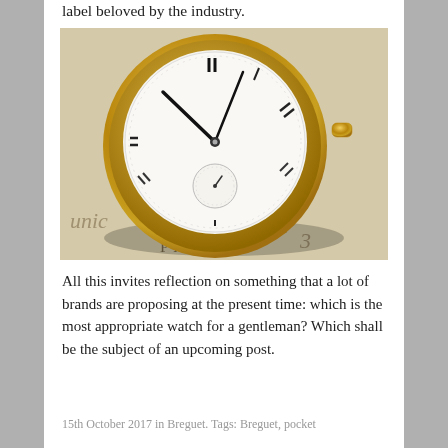label beloved by the industry.
[Figure (photo): A close-up photograph of a gold Breguet pocket watch with a white enamel dial showing Roman numerals and a sub-dial, placed on a handwritten paper with the word PARIS visible.]
All this invites reflection on something that a lot of brands are proposing at the present time: which is the most appropriate watch for a gentleman? Which shall be the subject of an upcoming post.
15th October 2017 in Breguet. Tags: Breguet, pocket